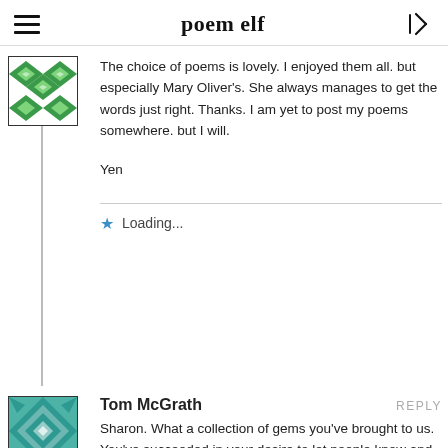poem elf
The choice of poems is lovely. I enjoyed them all. but especially Mary Oliver's. She always manages to get the words just right. Thanks. I am yet to post my poems somewhere. but I will.

Yen
Loading...
Tom McGrath
Sharon. What a collection of gems you've brought to us. You've succeeded in your desire to let people know and feel the